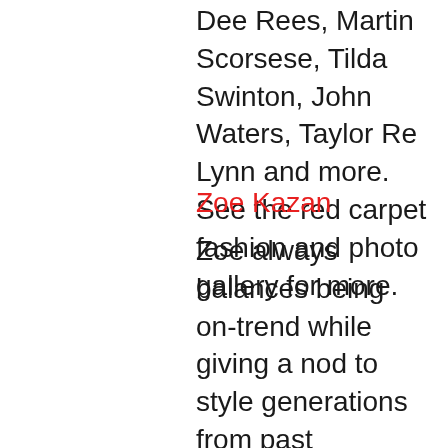Dee Rees, Martin Scorsese, Tilda Swinton, John Waters, Taylor Re Lynn and more. See the red carpet fashion and photo gallery for more.
Zoe Kazan
Zoe always balances being on-trend while giving a nod to style generations from past generations. Staying true to form, she wore a ladylike Miu Miu Pre-Fall 2019 floral shirt dress with a prairie-inspired collar. No tights and a retro kitten heel. This is one of those dresses you can make work for